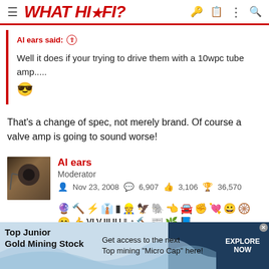WHAT HI-FI?
Al ears said: ↑

Well it does if your trying to drive them with a 10wpc tube amp..... 😎
That's a change of spec, not merely brand. Of course a valve amp is going to sound worse!
Al ears
Moderator
Nov 23, 2008  6,907  3,106  36,570
[Figure (screenshot): Advertisement banner: Top Junior Gold Mining Stock - Get access to the next Top mining "Micro Cap" here! EXPLORE NOW]